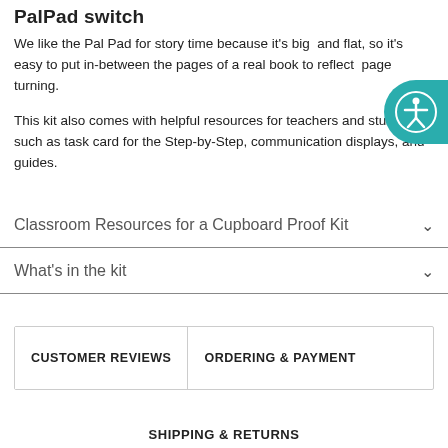PalPad switch
We like the Pal Pad for story time because it's big and flat, so it's easy to put in-between the pages of a real book to reflect page turning.
This kit also comes with helpful resources for teachers and students such as task card for the Step-by-Step, communication displays, and guides.
Classroom Resources for a Cupboard Proof Kit
What's in the kit
CUSTOMER REVIEWS | ORDERING & PAYMENT
SHIPPING & RETURNS